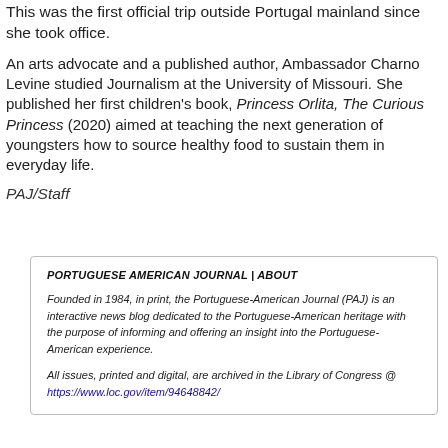This was the first official trip outside Portugal mainland since she took office.
An arts advocate and a published author, Ambassador Charno Levine studied Journalism at the University of Missouri. She published her first children's book, Princess Orlita, The Curious Princess (2020) aimed at teaching the next generation of youngsters how to source healthy food to sustain them in everyday life.
PAJ/Staff
PORTUGUESE AMERICAN JOURNAL | ABOUT
Founded in 1984, in print, the Portuguese-American Journal (PAJ) is an interactive news blog dedicated to the Portuguese-American heritage with the purpose of informing and offering an insight into the Portuguese-American experience.
All issues, printed and digital, are archived in the Library of Congress @ https://www.loc.gov/item/94648842/